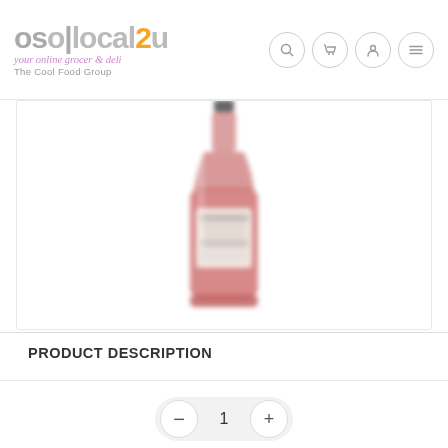[Figure (logo): osolocal2u logo with tagline 'your online grocer & deli' and 'The Cool Food Group']
[Figure (photo): A bottle of rosé wine or similar pink-colored spirit, slightly blurred, centered on white background]
PRODUCT DESCRIPTION
[Figure (other): Quantity selector control with minus button, value 1, and plus button]